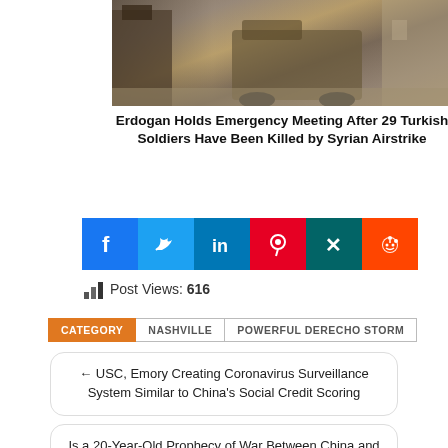[Figure (photo): Military soldiers and an armored vehicle on a street, desert/urban setting]
Erdogan Holds Emergency Meeting After 29 Turkish Soldiers Have Been Killed by Syrian Airstrike
[Figure (infographic): Social share buttons: Facebook, Twitter, LinkedIn, Pinterest, Xing, Reddit]
Post Views: 616
CATEGORY | NASHVILLE | POWERFUL DERECHO STORM
← USC, Emory Creating Coronavirus Surveillance System Similar to China's Social Credit Scoring
Is a 20-Year-Old Prophecy of War Between China and America Igniting WW3 Beginning to Take Shape? →